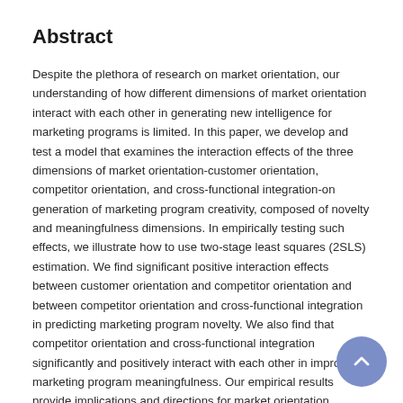Abstract
Despite the plethora of research on market orientation, our understanding of how different dimensions of market orientation interact with each other in generating new intelligence for marketing programs is limited. In this paper, we develop and test a model that examines the interaction effects of the three dimensions of market orientation-customer orientation, competitor orientation, and cross-functional integration-on generation of marketing program creativity, composed of novelty and meaningfulness dimensions. In empirically testing such effects, we illustrate how to use two-stage least squares (2SLS) estimation. We find significant positive interaction effects between customer orientation and competitor orientation and between competitor orientation and cross-functional integration in predicting marketing program novelty. We also find that competitor orientation and cross-functional integration significantly and positively interact with each other in improving marketing program meaningfulness. Our empirical results provide implications and directions for market orientation research.